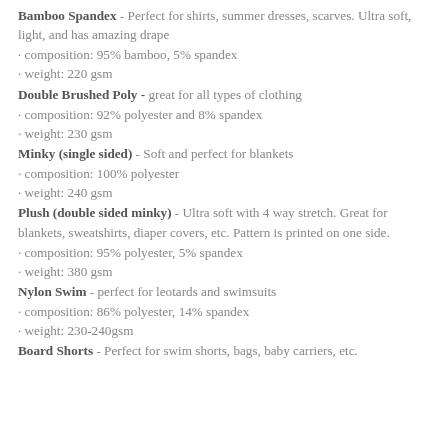Bamboo Spandex - Perfect for shirts, summer dresses, scarves. Ultra soft, light, and has amazing drape
· composition: 95% bamboo, 5% spandex
· weight: 220 gsm
Double Brushed Poly - great for all types of clothing
· composition: 92% polyester and 8% spandex
· weight: 230 gsm
Minky (single sided) - Soft and perfect for blankets
· composition: 100% polyester
· weight: 240 gsm
Plush (double sided minky) - Ultra soft with 4 way stretch. Great for blankets, sweatshirts, diaper covers, etc. Pattern is printed on one side.
· composition: 95% polyester, 5% spandex
· weight: 380 gsm
Nylon Swim - perfect for leotards and swimsuits
· composition: 86% polyester, 14% spandex
· weight: 230-240gsm
Board Shorts - Perfect for swim shorts, bags, baby carriers, etc.